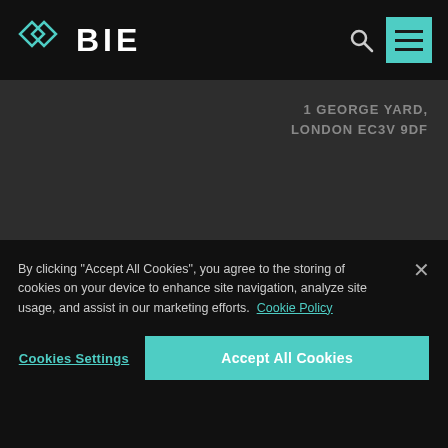BIE
1 GEORGE YARD, LONDON EC3V 9DF
COOKIE POLICY   PRIVACY POLICY
DIVERSITY AND INCLUSION POLICY   COMPLIANCE GUIDE
By clicking "Accept All Cookies", you agree to the storing of cookies on your device to enhance site navigation, analyze site usage, and assist in our marketing efforts. Cookie Policy
Cookies Settings
Accept All Cookies